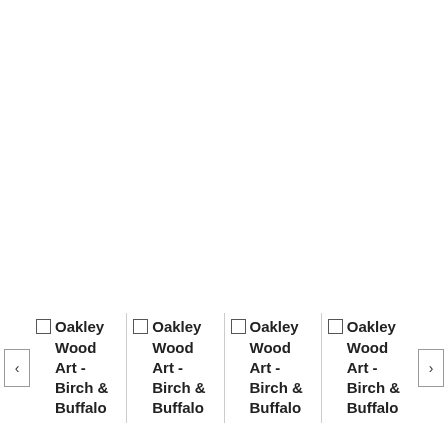[Figure (screenshot): Large blank white area taking up the top two-thirds of the page, representing an empty product image area in a web carousel.]
Oakley Wood Art - Birch & Buffalo
Oakley Wood Art - Birch & Buffalo
Oakley Wood Art - Birch & Buffalo
Oakley Wood Art - Birch & Buffalo